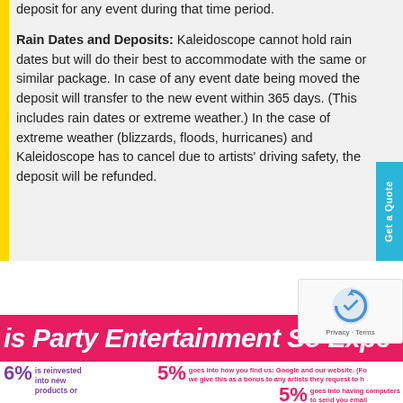deposit for any event during that time period.
Rain Dates and Deposits: Kaleidoscope cannot hold rain dates but will do their best to accommodate with the same or similar package. In case of any event date being moved the deposit will transfer to the new event within 365 days. (This includes rain dates or extreme weather.) In the case of extreme weather (blizzards, floods, hurricanes) and Kaleidoscope has to cancel due to artists' driving safety, the deposit will be refunded.
[Figure (infographic): Infographic section with pink/red banner reading 'is Party Entertainment So Expe...' and percentage breakdowns: 6% is reinvested into new products or...; 5% goes into how you find us: Google and our website. (For... we give this as a bonus to any artists they request to ha...; 5% goes into having computers to send you email phones to answer questions with, plus thing...]